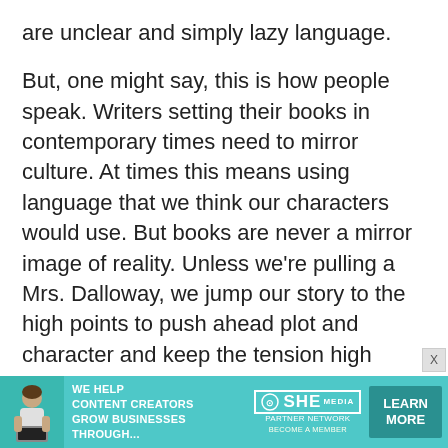are unclear and simply lazy language.

But, one might say, this is how people speak. Writers setting their books in contemporary times need to mirror culture. At times this means using language that we think our characters would use. But books are never a mirror image of reality. Unless we're pulling a Mrs. Dalloway, we jump our story to the high points to push ahead plot and character and keep the tension high enough to engage readers. We also cut out thoughts that are irrelevant. We edit and revise and deliberately choose each word. The writer has ultimate veto over what the characters do and think. They're characters! They have no
[Figure (infographic): Advertisement banner for SHE Media Partner Network. Teal background with photo of woman with laptop. Text: WE HELP CONTENT CREATORS GROW BUSINESSES THROUGH... SHE Media logo with PARTNER NETWORK and BECOME A MEMBER text. LEARN MORE button.]